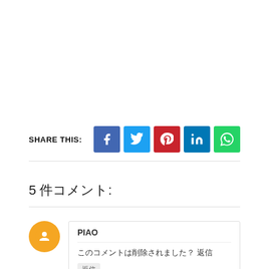SHARE THIS:
[Figure (other): Social share icons: Facebook, Twitter, Pinterest, LinkedIn, WhatsApp]
5 件コメント:
PIAO
このコメントは削除されました？ 返信